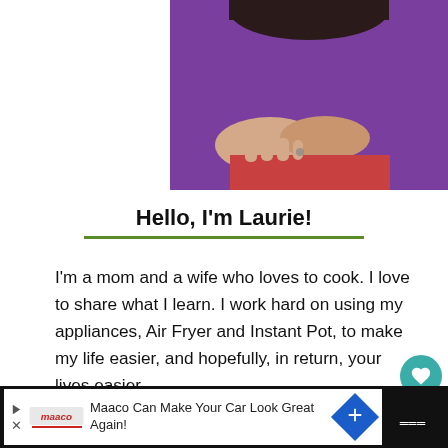[Figure (photo): Photo of a woman in a purple top hugging someone, with her hands visible resting on a red bag or surface, outdoors.]
Hello, I'm Laurie!
I'm a mom and a wife who loves to cook. I love to share what I learn. I work hard on using my appliances, Air Fryer and Instant Pot, to make my life easier, and hopefully, in return, your lives easier.
Learn More »
Let's Connect